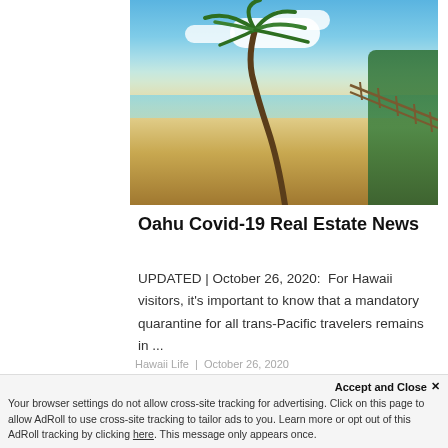[Figure (photo): Tropical beach scene with sandy shore, turquoise ocean, blue sky with white clouds, a leaning palm tree in the center-top, and lush green vegetation on the right side.]
Oahu Covid-19 Real Estate News
UPDATED | October 26, 2020:  For Hawaii visitors, it’s important to know that a mandatory quarantine for all trans-Pacific travelers remains in ...
Accept and Close × Your browser settings do not allow cross-site tracking for advertising. Click on this page to allow AdRoll to use cross-site tracking to tailor ads to you. Learn more or opt out of this AdRoll tracking by clicking here. This message only appears once.